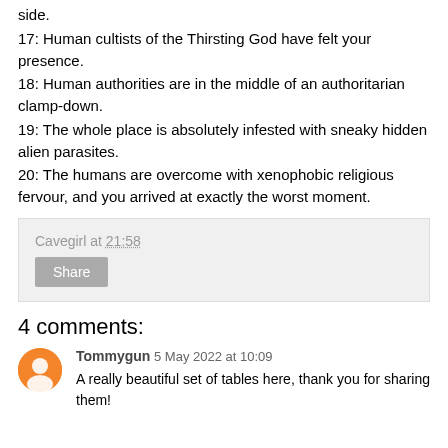side.
17: Human cultists of the Thirsting God have felt your presence.
18: Human authorities are in the middle of an authoritarian clamp-down.
19: The whole place is absolutely infested with sneaky hidden alien parasites.
20: The humans are overcome with xenophobic religious fervour, and you arrived at exactly the worst moment.
Cavegirl at 21:58
Share
4 comments:
Tommygun 5 May 2022 at 10:09
A really beautiful set of tables here, thank you for sharing them!